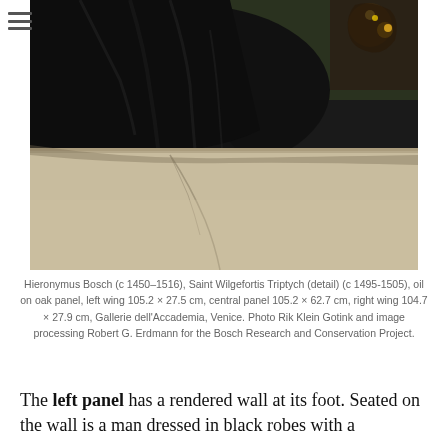[Figure (photo): Detail of a painting showing a figure in dark black robes seated or resting against a pale rendered wall, with another figure partially visible in the upper right corner. The painting has dark, muted tones typical of early Netherlandish panel painting.]
Hieronymus Bosch (c 1450–1516), Saint Wilgefortis Triptych (detail) (c 1495-1505), oil on oak panel, left wing 105.2 × 27.5 cm, central panel 105.2 × 62.7 cm, right wing 104.7 × 27.9 cm, Gallerie dell'Accademia, Venice. Photo Rik Klein Gotink and image processing Robert G. Erdmann for the Bosch Research and Conservation Project.
The left panel has a rendered wall at its foot. Seated on the wall is a man dressed in black robes with a